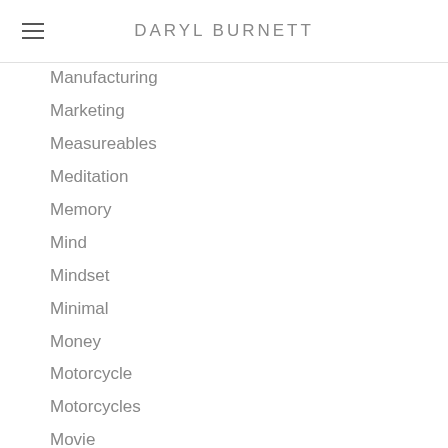DARYL BURNETT
Manufacturing
Marketing
Measureables
Meditation
Memory
Mind
Mindset
Minimal
Money
Motorcycle
Motorcycles
Movie
Music
Nature
Network
Nootropic
Online
Persistence
Philosophy
Podcast